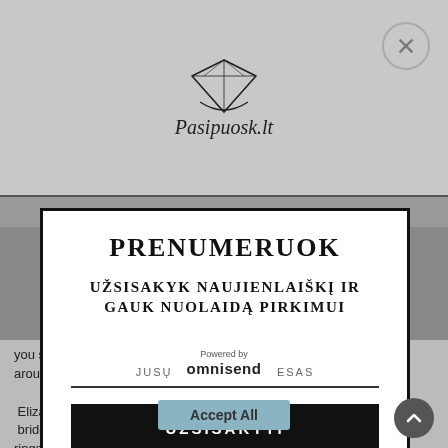[Figure (screenshot): Dimmed background showing Pasipuosk.lt jewelry website with diamond logo, navigation bar, and article text about celebrity brides with sapphire rings]
[Figure (logo): Diamond ring logo with text Pasipuosk.lt in italic serif font]
PRENUMERUOK
UŽSISAKYK NAUJIENLAIŠKĮ IR GAUK NUOLAIDĄ PIRKIMUI
JUSŲ E. PASTO ADRESAS
UŽSISAKYTI
Powered by omnisend
you should need to find out more about the cookies we around it. Kate Middleton, Penelope Cruz and use. View Cookies Policy. Elizabeth Hurley are some of the most famous brides to have be to with sapphire rings
Accept All